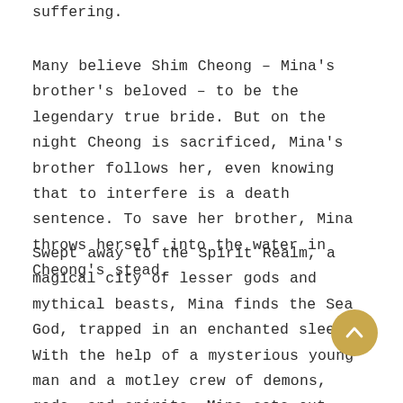suffering.
Many believe Shim Cheong – Mina's brother's beloved – to be the legendary true bride. But on the night Cheong is sacrificed, Mina's brother follows her, even knowing that to interfere is a death sentence. To save her brother, Mina throws herself into the water in Cheong's stead.
Swept away to the Spirit Realm, a magical city of lesser gods and mythical beasts, Mina finds the Sea God, trapped in an enchanted sleep. With the help of a mysterious young man and a motley crew of demons, gods, and spirits, Mina sets out